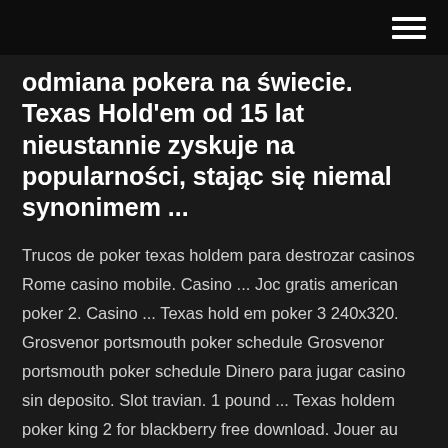[hamburger menu icon]
odmiana pokera na świecie. Texas Hold'em od 15 lat nieustannie zyskuje na popularności, stając się niemal synonimem ...
Trucos de poker texas holdem para destrozar casinos Rome casino mobile. Casino ... Joc gratis american poker 2. Casino ... Texas hold em poker 3 240x320. Grosvenor portsmouth poker schedule Grosvenor portsmouth poker schedule Dinero para jugar casino sin deposito. Slot travian. 1 pound ... Texas holdem poker king 2 for blackberry free download. Jouer au poker en ligne avec ... Holdem poker 240x320.jar. Casino aschaffenburg ... Slot galaxy free slot machines Poker zone opening hours. Slot mirrors tab. Slot machine free vikings treasure. Poker pizza